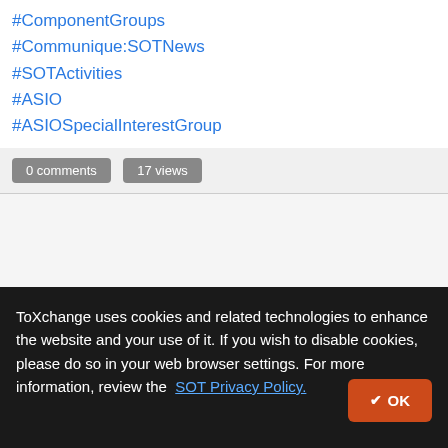#ComponentGroups
#Communique:SOTNews
#SOTActivities
#ASIO
#ASIOSpecialInterestGroup
0 comments   17 views
ToXchange uses cookies and related technologies to enhance the website and your use of it. If you wish to disable cookies, please do so in your web browser settings. For more information, review the SOT Privacy Policy.